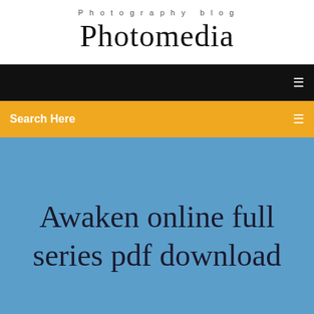Photography blog
Photomedia
[Figure (screenshot): Black navigation bar with white menu icon on the right]
[Figure (screenshot): Yellow/amber search bar with 'Search Here' text in white and a search icon on the right]
Awaken online full series pdf download